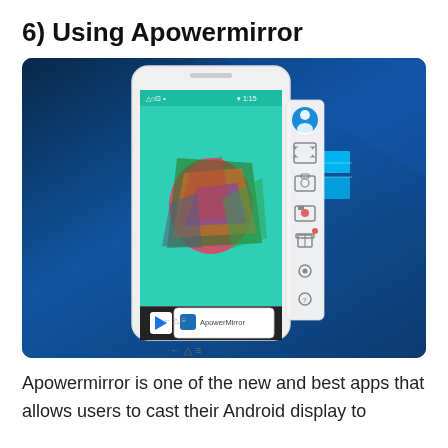6) Using Apowermirror
[Figure (screenshot): Screenshot showing Apowermirror app running on an Android phone being mirrored to a Windows 10 PC. The phone displays a colorful abstract wallpaper with the ApowerMirror app icon in a taskbar popup. A sidebar with control icons (user, fullscreen, camera, record, gift, settings, help) is visible next to the phone. The Windows logo glows in the background on the right side.]
Apowermirror is one of the new and best apps that allows users to cast their Android display to